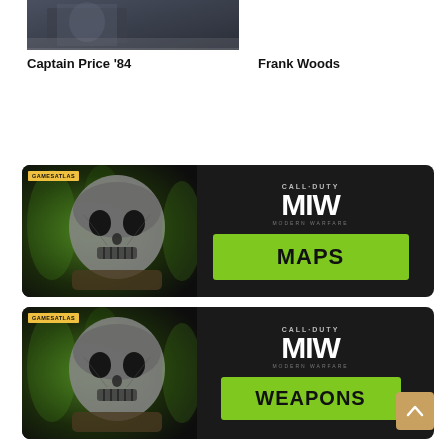[Figure (photo): Partial photo of Captain Price '84 character from Call of Duty, cropped at top]
Captain Price '84
Frank Woods
[Figure (photo): Call of Duty Modern Warfare 2 MAPS banner with Ghost character and GamesAtlas logo]
[Figure (photo): Call of Duty Modern Warfare 2 WEAPONS banner with Ghost character and GamesAtlas logo]